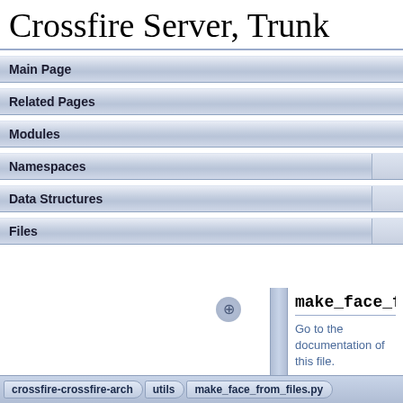Crossfire Server, Trunk
Main Page
Related Pages
Modules
Namespaces
Data Structures
Files
make_face_from
Go to the documentation of this file.
1  #!/bi
n/python
crossfire-crossfire-arch   utils   make_face_from_files.py